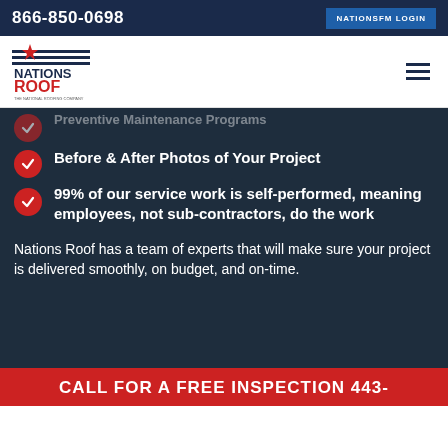866-850-0698  NATIONSFM LOGIN
[Figure (logo): Nations Roof logo with red star and horizontal lines]
Preventive Maintenance Programs
Before & After Photos of Your Project
99% of our service work is self-performed, meaning employees, not sub-contractors, do the work
Nations Roof has a team of experts that will make sure your project is delivered smoothly, on budget, and on-time.
CALL FOR A FREE INSPECTION 443-